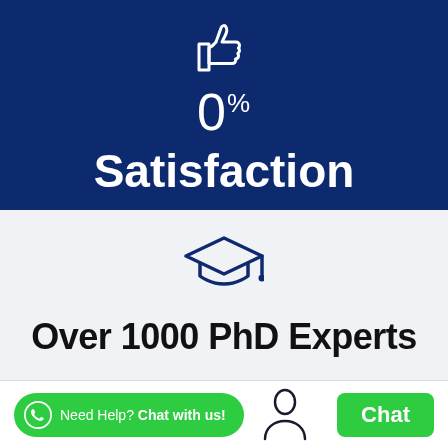[Figure (infographic): Thumbs up icon on dark navy blue background]
0%
Satisfaction
[Figure (infographic): Graduation cap icon on light grey background]
Over 1000 PhD Experts
Need Help? Chat with us!
Chat